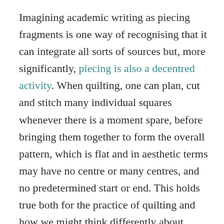Imagining academic writing as piecing fragments is one way of recognising that it can integrate all sorts of sources but, more significantly, piecing is also a decentred activity. When quilting, one can plan, cut and stitch many individual squares whenever there is a moment spare, before bringing them together to form the overall pattern, which is flat and in aesthetic terms may have no centre or many centres, and no predetermined start or end. This holds true both for the practice of quilting and how we might think differently about academic writing, with each contribution not a brick in a structured wall but a square ready to stitch onto other squares to make something unexpected, or...